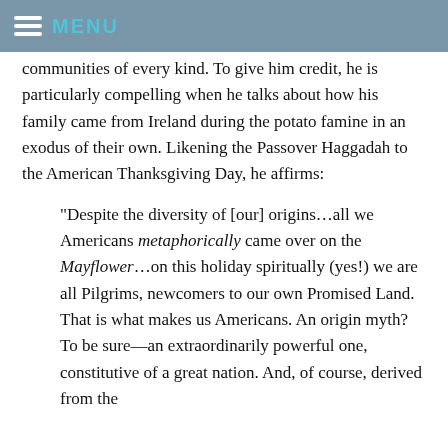MENU
communities of every kind. To give him credit, he is particularly compelling when he talks about how his family came from Ireland during the potato famine in an exodus of their own. Likening the Passover Haggadah to the American Thanksgiving Day, he affirms:
"Despite the diversity of [our] origins…all we Americans metaphorically came over on the Mayflower…on this holiday spiritually (yes!) we are all Pilgrims, newcomers to our own Promised Land. That is what makes us Americans. An origin myth? To be sure—an extraordinarily powerful one, constitutive of a great nation. And, of course, derived from the